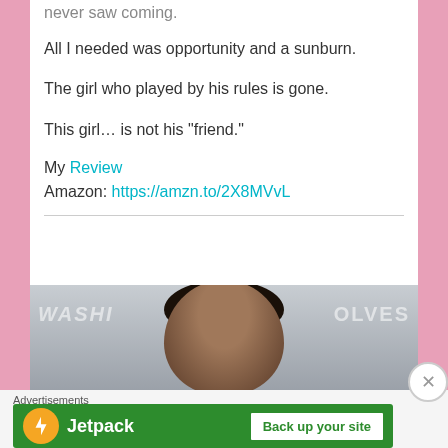never saw coming.
All I needed was opportunity and a sunburn.
The girl who played by his rules is gone.
This girl… is not his “friend.”
My Review
Amazon: https://amzn.to/2X8MVvL
[Figure (photo): Book cover image showing partial text 'WASHI' and 'OLVES' with a man's face visible]
Advertisements
[Figure (screenshot): Jetpack advertisement banner with 'Back up your site' button]